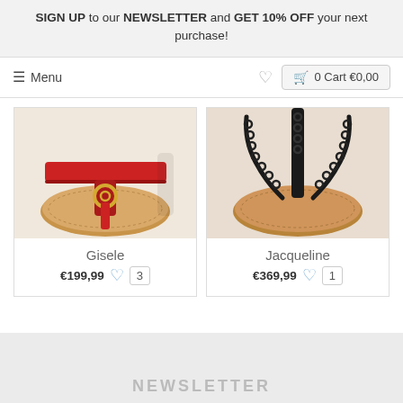SIGN UP to our NEWSLETTER and GET 10% OFF your next purchase!
≡ Menu   ♡   🛒 0 Cart €0,00
[Figure (photo): Close-up of a red leather sandal (Gisele) with gold ring detail on tan sole]
Gisele €199,99 ♡ 3
[Figure (photo): Close-up of a black chain strap sandal (Jacqueline) on tan leather sole]
Jacqueline €369,99 ♡ 1
NEWSLETTER